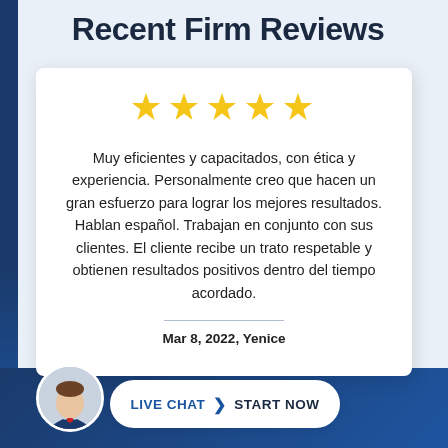Recent Firm Reviews
[Figure (other): Five gold star rating icons]
Muy eficientes y capacitados, con ética y experiencia. Personalmente creo que hacen un gran esfuerzo para lograr los mejores resultados. Hablan español. Trabajan en conjunto con sus clientes. El cliente recibe un trato respetable y obtienen resultados positivos dentro del tiempo acordado.
Mar 8, 2022, Yenice
[Figure (photo): Circular avatar photo of a man in a suit]
LIVE CHAT  START NOW